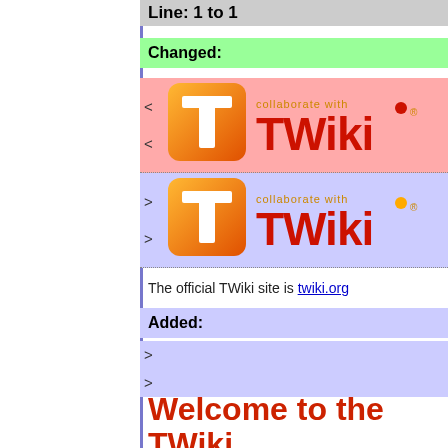Line: 1 to 1
Changed:
[Figure (logo): TWiki logo (old version) with orange T icon and 'collaborate with TWiki' text, red dot on the i]
[Figure (logo): TWiki logo (new version) with orange T icon and 'collaborate with TWiki' text, yellow dot on the i]
The official TWiki site is twiki.org
Added:
Welcome to the TWiki Web